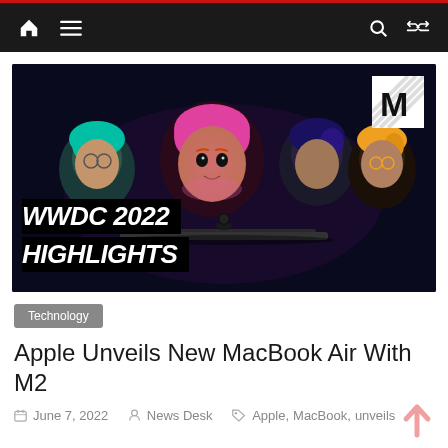Navigation bar with home, menu, search, shuffle icons
[Figure (photo): WWDC 2022 Highlights hero image showing animated 3D Memoji-style characters around a MacBook, with 'WWDC 2022 HIGHLIGHTS' text overlay and an M logo in the top-right corner]
Technology
Apple Unveils New MacBook Air With M2
June 7, 2022   News Desk   Apple, MacBook, unveils